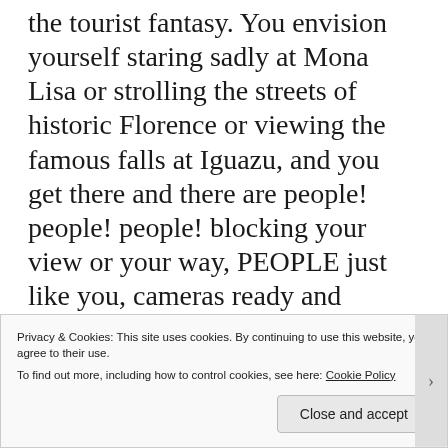the tourist fantasy. You envision yourself staring sadly at Mona Lisa or strolling the streets of historic Florence or viewing the famous falls at Iguazu, and you get there and there are people! people! people! blocking your view or your way, PEOPLE just like you, cameras ready and longing for Experience. The Experience is not ideal when there's a tour group of 22 German people talking in that beefy German
Privacy & Cookies: This site uses cookies. By continuing to use this website, you agree to their use.
To find out more, including how to control cookies, see here: Cookie Policy
Close and accept